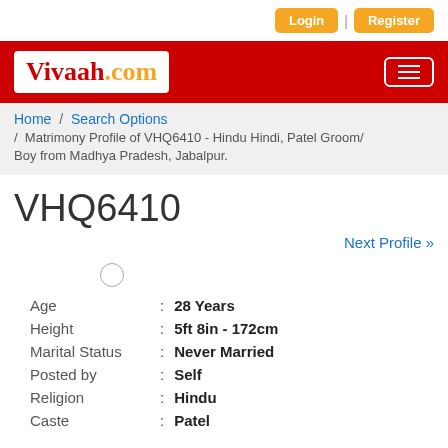Login | Register
[Figure (logo): Vivaah.com logo on red header bar with hamburger menu icon]
Home / Search Options / Matrimony Profile of VHQ6410 - Hindu Hindi, Patel Groom/Boy from Madhya Pradesh, Jabalpur.
VHQ6410
Next Profile »
| Field | Value |
| --- | --- |
| Age | 28 Years |
| Height | 5ft 8in - 172cm |
| Marital Status | Never Married |
| Posted by | Self |
| Religion | Hindu |
| Caste | Patel |